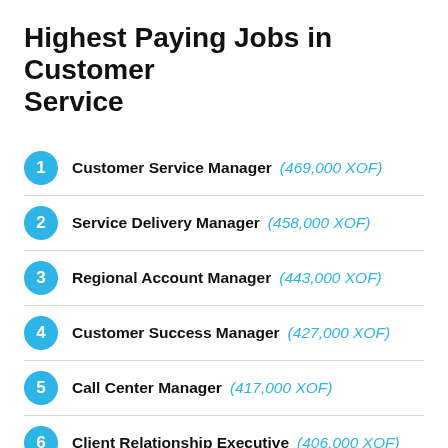Highest Paying Jobs in Customer Service
1. Customer Service Manager (469,000 XOF)
2. Service Delivery Manager (458,000 XOF)
3. Regional Account Manager (443,000 XOF)
4. Customer Success Manager (427,000 XOF)
5. Call Center Manager (417,000 XOF)
6. Client Relationship Executive (406,000 XOF)
7. Operations Support Manager (391,000 XOF)
8. Customer Service Executive (312,000 XOF)